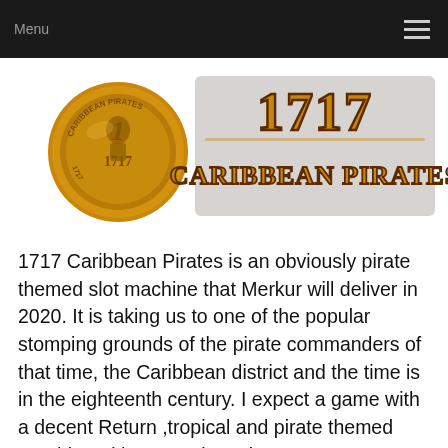Menu
[Figure (logo): 1717 Caribbean Pirates logo: a gold coin with pirate imagery on the left, and stylized golden text '1717 CARIBBEAN PIRATES' on the right]
1717 Caribbean Pirates is an obviously pirate themed slot machine that Merkur will deliver in 2020. It is taking us to one of the popular stomping grounds of the pirate commanders of that time, the Caribbean district and the time is in the eighteenth century. I expect a game with a decent Return ,tropical and pirate themed graphics with some nice prizes too.